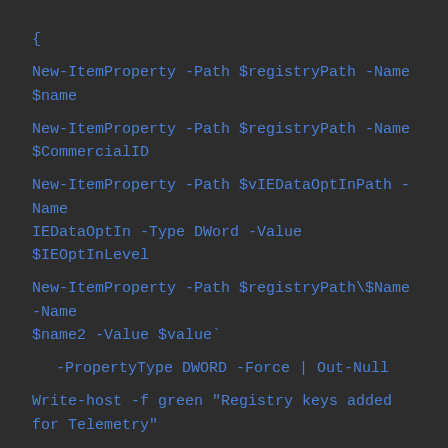{

New-ItemProperty -Path $registryPath -Name $name

New-ItemProperty -Path $registryPath -Name $CommercialID

New-ItemProperty -Path $vIEDataOptInPath -Name IEDataOptIn -Type DWord -Value $IEOptInLevel

New-ItemProperty -Path $registryPath\$Name -Name $name2 -Value $value`

    -PropertyType DWORD -Force | Out-Null

Write-host -f green "Registry keys added for Telemetry"

}